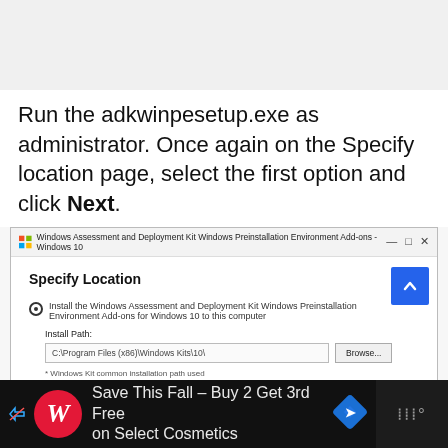[Figure (screenshot): Top portion of a webpage screenshot, light gray background area]
Run the adkwinpesetup.exe as administrator. Once again on the Specify location page, select the first option and click Next.
[Figure (screenshot): Windows Assessment and Deployment Kit Windows Preinstallation Environment Add-ons Windows 10 installer dialog showing Specify Location screen with radio button selected for Install the Windows Assessment and Deployment Kit Windows Preinstallation Environment Add-ons for Windows 10 to this computer, Install Path field showing C:\Program Files (x86)\Windows Kits\10\, a Browse button, and note: * Windows Kit common installation path used]
[Figure (screenshot): Advertisement bar: Walgreens - Save This Fall - Buy 2 Get 3rd Free on Select Cosmetics]